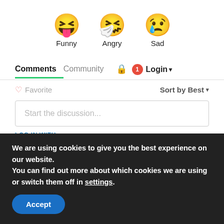[Figure (illustration): Three emoji faces in a row: Funny (squinting face with tongue out), Angry (face with mask/drooling, angry expression), Sad (slightly frowning face with tear). Each has a text label beneath it.]
Funny   Angry   Sad
Comments   Community   🔒   1   Login ▾
♡ Favorite   Sort by Best ▾
Start the discussion...
LOG IN WITH
[Figure (logo): Social login icons: D (blue circle), f (dark blue circle), bird/T (cyan circle), G (red circle)]
We are using cookies to give you the best experience on our website.
You can find out more about which cookies we are using or switch them off in settings.
Accept